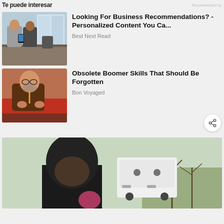Te puede interesar   Recommended by
[Figure (photo): Two businessmen in suits looking at a phone at a conference table in a modern office]
Looking For Business Recommendations? - Personalized Content You Ca...
Best Next Read
[Figure (photo): Elderly man with glasses and beard working on red fabric at a workbench, wearing a brown jacket]
Obsolete Boomer Skills That Should Be Forgotten
Bon Voyaged
[Figure (photo): Person in a black beanie hat partially visible next to a white vehicle, with a field in the background]